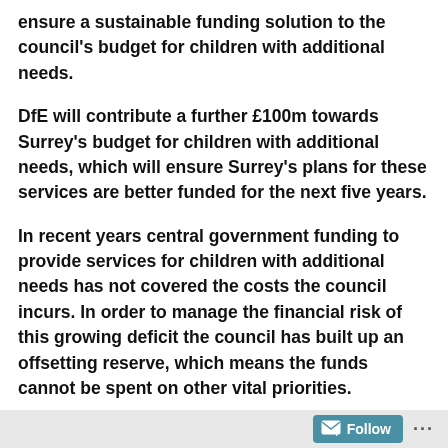ensure a sustainable funding solution to the council's budget for children with additional needs.
DfE will contribute a further £100m towards Surrey's budget for children with additional needs, which will ensure Surrey's plans for these services are better funded for the next five years.
In recent years central government funding to provide services for children with additional needs has not covered the costs the council incurs. In order to manage the financial risk of this growing deficit the council has built up an offsetting reserve, which means the funds cannot be spent on other vital priorities.
SCC is hopeful that this agreement with the DfE will mean
Follow ...